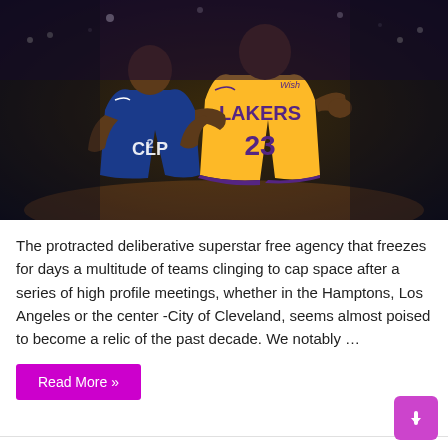[Figure (photo): Two NBA basketball players on court — a Clippers player (#2) and a Lakers player (#23, LeBron James) in yellow jersey with Wish sponsor logo]
The protracted deliberative superstar free agency that freezes for days a multitude of teams clinging to cap space after a series of high profile meetings, whether in the Hamptons, Los Angeles or the center -City of Cleveland, seems almost poised to become a relic of the past decade. We notably …
Read More »
Burnaby refinery fire scares the public